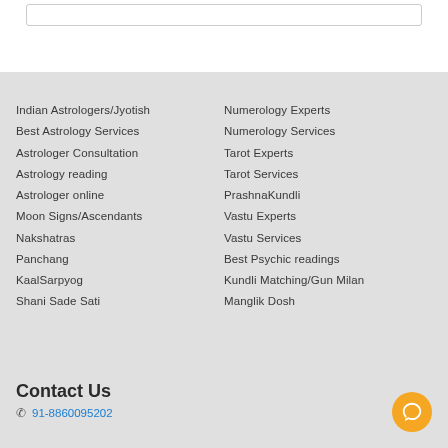Indian Astrologers/Jyotish
Best Astrology Services
Astrologer Consultation
Astrology reading
Astrologer online
Moon Signs/Ascendants
Nakshatras
Panchang
KaalSarpyog
Shani Sade Sati
Numerology Experts
Numerology Services
Tarot Experts
Tarot Services
PrashnaKundli
Vastu Experts
Vastu Services
Best Psychic readings
Kundli Matching/Gun Milan
Manglik Dosh
Contact Us
91-8860095202